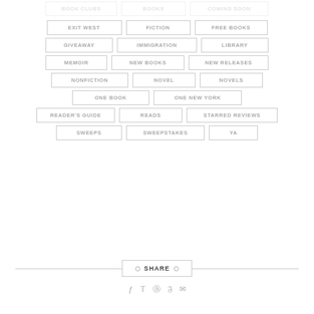BOOK CLUBS | BOOKS | COMING SOON
EXIT WEST | FICTION | FREE BOOKS
GIVEAWAY | IMMIGRATION | LIBRARY
MEMOIR | NEW BOOKS | NEW RELEASES
NONFICTION | NOVEL | NOVELS
ONE BOOK | ONE NEW YORK
READER'S GUIDE | READS | STARRED REVIEWS
SWEEPS | SWEEPSTAKES | YA
SHARE
Social share icons: Facebook, Twitter, Google+, Pinterest, Email